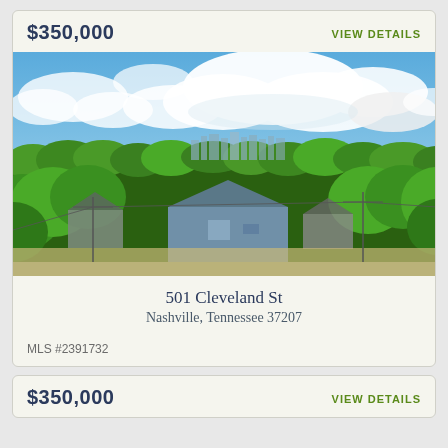$350,000
VIEW DETAILS
[Figure (photo): Aerial/elevated view of a residential neighborhood with green trees and houses in the foreground, and downtown Nashville skyline visible in the background under a partly cloudy blue sky.]
501 Cleveland St
Nashville, Tennessee 37207
MLS #2391732
$350,000
VIEW DETAILS